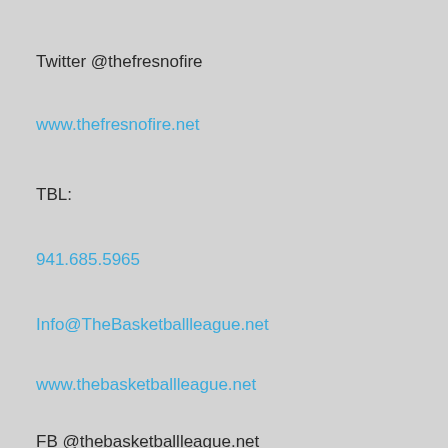Twitter @thefresnofire
www.thefresnofire.net
TBL:
941.685.5965
Info@TheBasketballleague.net
www.thebasketballleague.net
FB @thebasketballleague.net
IG @tbasketballleague